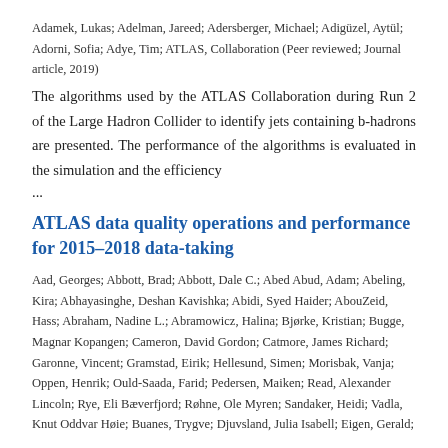Adamek, Lukas; Adelman, Jareed; Adersberger, Michael; Adigüzel, Aytül; Adorni, Sofia; Adye, Tim; ATLAS, Collaboration (Peer reviewed; Journal article, 2019)
The algorithms used by the ATLAS Collaboration during Run 2 of the Large Hadron Collider to identify jets containing b-hadrons are presented. The performance of the algorithms is evaluated in the simulation and the efficiency ...
ATLAS data quality operations and performance for 2015–2018 data-taking
Aad, Georges; Abbott, Brad; Abbott, Dale C.; Abed Abud, Adam; Abeling, Kira; Abhayasinghe, Deshan Kavishka; Abidi, Syed Haider; AbouZeid, Hass; Abraham, Nadine L.; Abramowicz, Halina; Bjørke, Kristian; Bugge, Magnar Kopangen; Cameron, David Gordon; Catmore, James Richard; Garonne, Vincent; Gramstad, Eirik; Hellesund, Simen; Morisbak, Vanja; Oppen, Henrik; Ould-Saada, Farid; Pedersen, Maiken; Read, Alexander Lincoln; Rye, Eli Bæverfjord; Røhne, Ole Myren; Sandaker, Heidi; Vadla, Knut Oddvar Høie; Buanes, Trygve; Djuvsland, Julia Isabell; Eigen, Gerald;